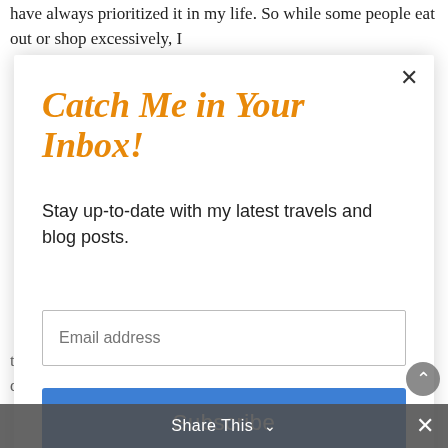have always prioritized it in my life. So while some people eat out or shop excessively, I
Catch Me in Your Inbox!
Stay up-to-date with my latest travels and blog posts.
Email address
Subscribe
there  so everyone travels. Since I was young I've traveled to different cities and states. I know this is probably a big lean
Share This